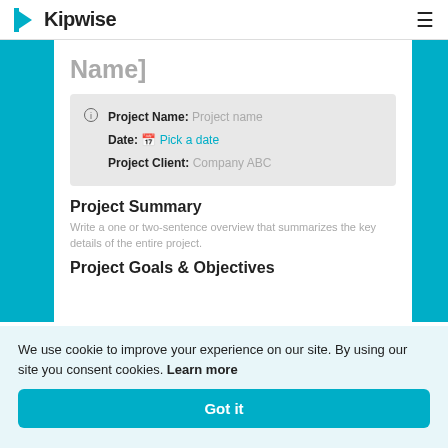Kipwise
Name]
| Field | Value |
| --- | --- |
| Project Name: | Project name |
| Date: | Pick a date |
| Project Client: | Company ABC |
Project Summary
Write a one or two-sentence overview that summarizes the key details of the entire project.
Project Goals & Objectives
We use cookie to improve your experience on our site. By using our site you consent cookies. Learn more
Got it